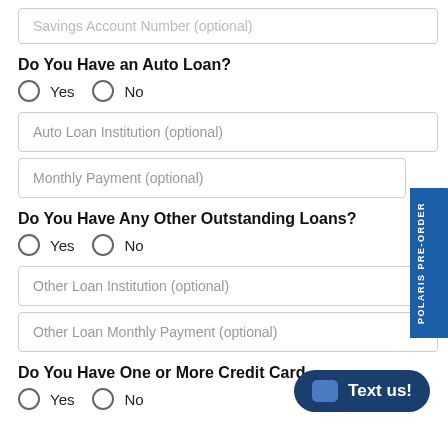Savings Account Number (optional)
Do You Have an Auto Loan?
Yes   No
Auto Loan Institution (optional)
Monthly Payment (optional)
Do You Have Any Other Outstanding Loans?
Yes   No
Other Loan Institution (optional)
Other Loan Monthly Payment (optional)
Do You Have One or More Credit Card
Yes   No